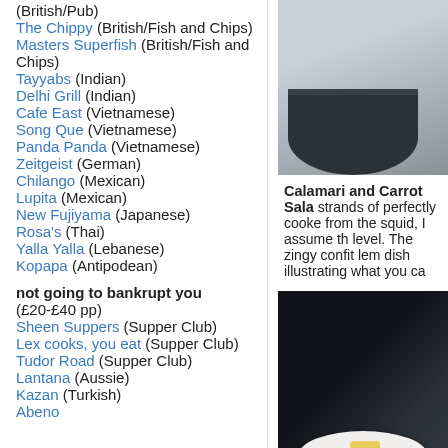(British/Pub)
The Chippy (British/Fish and Chips)
Masters Superfish (British/Fish and Chips)
Tayyabs (Indian)
Delhi Grill (Indian)
Cafe East (Vietnamese)
Song Que (Vietnamese)
Panda Panda (Vietnamese)
Zeitgeist (German)
Chilango (Mexican)
Lupita (Mexican)
New Fujiyama (Japanese)
Rosa's (Thai)
Yalla Yalla (Lebanese)
Kopapa (Antipodean)
not going to bankrupt you (£20-£40 pp)
Sheen Suppers (Supper Club)
Lex cooks, you eat (Supper Club)
Tudor Road (Supper Club)
Lantana (Aussie)
Kazan (Turkish)
Abeno
[Figure (photo): Close-up photo of a dark bowl or dish, possibly containing a light-colored food item, on a light background.]
Calamari and Carrot Sala strands of perfectly cooke from the squid, I assume th level. The zingy confit lem dish illustrating what you ca
[Figure (photo): Dark interior photo of a restaurant setting, with a white plate and a yellow food item visible in the foreground.]